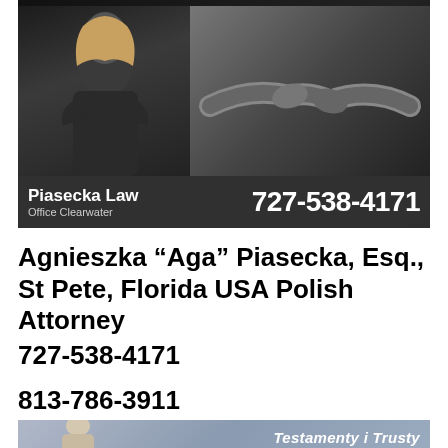[Figure (photo): Law firm advertisement banner with image of blonde woman attorney in dark outfit with arms crossed on left, handshake image on right, 'Divorce' text in bold italic white, and gray bar below with 'Piasecka Law / Office Clearwater' and phone number '727-538-4171']
Agnieszka “Aga” Piasecka, Esq., St Pete, Florida USA Polish Attorney
727-538-4171
813-786-3911
[Figure (photo): Bottom banner showing blonde woman attorney and partial text 'Testamenty i Trusty' on gray/blue gradient background]